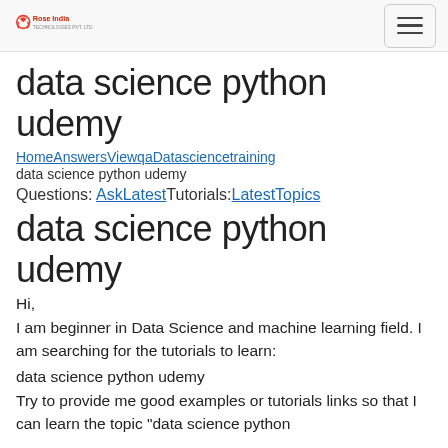Rose India [logo] | [hamburger menu]
data science python udemy
HomeAnswersViewqaDatasciencetraining
data science python udemy
Questions: AskLatestTutorials:LatestTopics
data science python udemy
Hi,
I am beginner in Data Science and machine learning field. I am searching for the tutorials to learn:
data science python udemy
Try to provide me good examples or tutorials links so that I can learn the topic "data science python